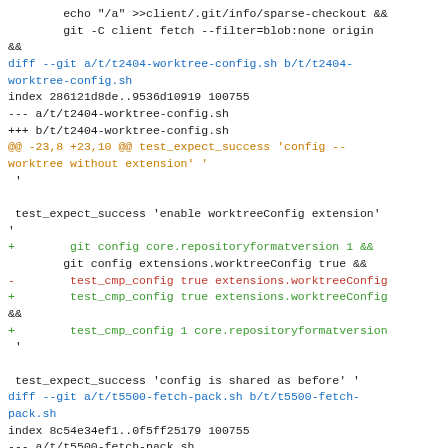echo "/a" >>client/.git/info/sparse-checkout &&
        git -C client fetch --filter=blob:none origin
&&
diff --git a/t/t2404-worktree-config.sh b/t/t2404-worktree-config.sh
index 286121d8de..9536d10919 100755
--- a/t/t2404-worktree-config.sh
+++ b/t/t2404-worktree-config.sh
@@ -23,8 +23,10 @@ test_expect_success 'config --worktree without extension' '
 '

 test_expect_success 'enable worktreeConfig extension' '
+        git config core.repositoryformatversion 1 &&
        git config extensions.worktreeConfig true &&
-        test_cmp_config true extensions.worktreeConfig
+        test_cmp_config true extensions.worktreeConfig
&&
+        test_cmp_config 1 core.repositoryformatversion
 '

 test_expect_success 'config is shared as before' '
diff --git a/t/t5500-fetch-pack.sh b/t/t5500-fetch-pack.sh
index 8c54e34ef1..0f5ff25179 100755
--- a/t/t5500-fetch-pack.sh
+++ b/t/t5500-fetch-pack.sh
@@ -999,7 +999,6 @@ fetch_filter_blob_limit_zero () {
        test_config -C "$SERVER" uploadpack.allowfilter